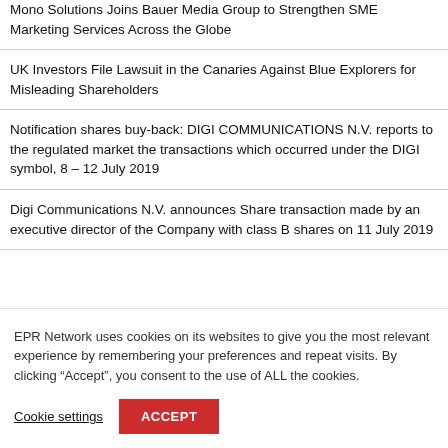Mono Solutions Joins Bauer Media Group to Strengthen SME Marketing Services Across the Globe
UK Investors File Lawsuit in the Canaries Against Blue Explorers for Misleading Shareholders
Notification shares buy-back: DIGI COMMUNICATIONS N.V. reports to the regulated market the transactions which occurred under the DIGI symbol, 8 – 12 July 2019
Digi Communications N.V. announces Share transaction made by an executive director of the Company with class B shares on 11 July 2019
EPR Network uses cookies on its websites to give you the most relevant experience by remembering your preferences and repeat visits. By clicking “Accept”, you consent to the use of ALL the cookies.
Cookie settings | ACCEPT